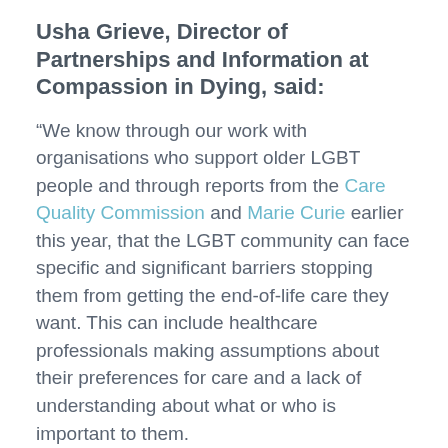Usha Grieve, Director of Partnerships and Information at Compassion in Dying, said:
“We know through our work with organisations who support older LGBT people and through reports from the Care Quality Commission and Marie Curie earlier this year, that the LGBT community can face specific and significant barriers stopping them from getting the end-of-life care they want. This can include healthcare professionals making assumptions about their preferences for care and a lack of understanding about what or who is important to them.
“That’s why we have produced this booklet.